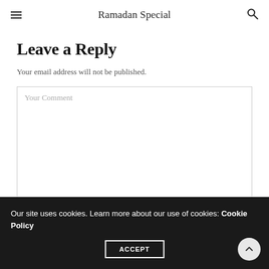Ramadan Special
Leave a Reply
Your email address will not be published.
Your Comment
Our site uses cookies. Learn more about our use of cookies: Cookie Policy
ACCEPT